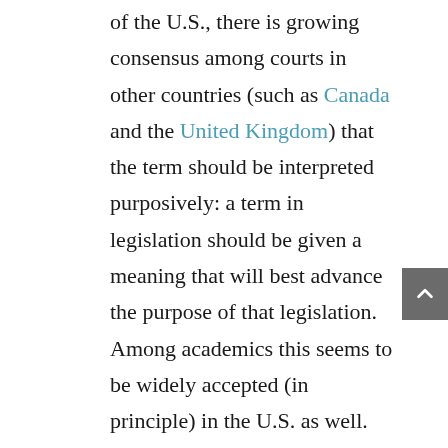of the U.S., there is growing consensus among courts in other countries (such as Canada and the United Kingdom) that the term should be interpreted purposively: a term in legislation should be given a meaning that will best advance the purpose of that legislation. Among academics this seems to be widely accepted (in principle) in the U.S. as well. So to decide who should be considered an “employee” we have to ask what are the goals (justifications) behind a specific law, or the goals behind the “project” of labor and employment law as a whole (because at some level, all labor and employment laws share the same basic purpose). As part of the purposive approach...